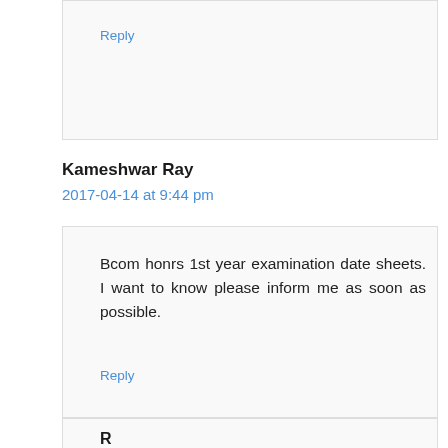Reply
Kameshwar Ray
2017-04-14 at 9:44 pm
Bcom honrs 1st year examination date sheets. I want to know please inform me as soon as possible.
Reply